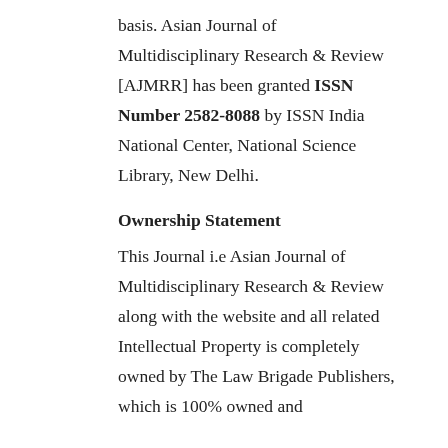basis. Asian Journal of Multidisciplinary Research & Review [AJMRR] has been granted ISSN Number 2582-8088 by ISSN India National Center, National Science Library, New Delhi.
Ownership Statement
This Journal i.e Asian Journal of Multidisciplinary Research & Review along with the website and all related Intellectual Property is completely owned by The Law Brigade Publishers, which is 100% owned and